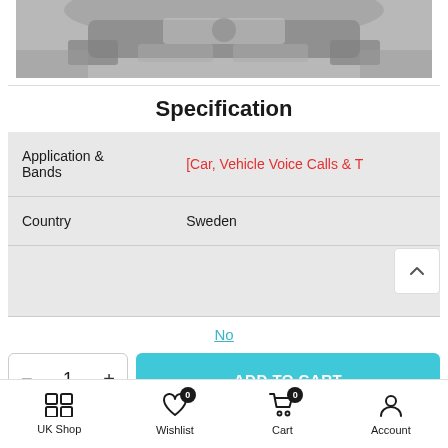[Figure (photo): Partial view of a car interior dashboard, grey toned image, cropped at top]
Specification
|  |  |
| --- | --- |
| Application & Bands | [Car, Vehicle Voice Calls & T |
| Country | Sweden |
|  |  |
No
- 1 + ADD TO CART
UK Shop   Wishlist 0   Cart 0   Account